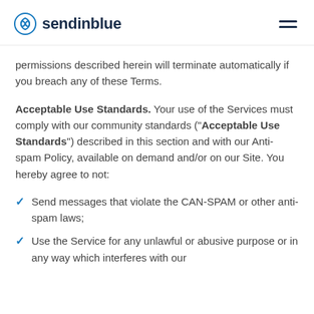sendinblue
permissions described herein will terminate automatically if you breach any of these Terms.
Acceptable Use Standards. Your use of the Services must comply with our community standards ("Acceptable Use Standards") described in this section and with our Anti-spam Policy, available on demand and/or on our Site. You hereby agree to not:
Send messages that violate the CAN-SPAM or other anti-spam laws;
Use the Service for any unlawful or abusive purpose or in any way which interferes with our